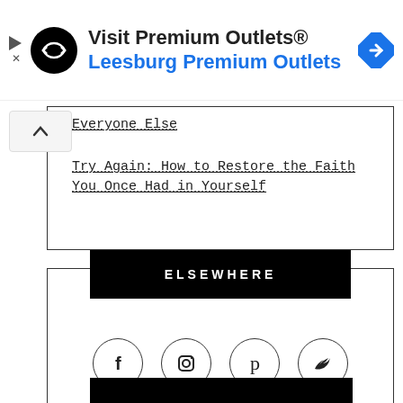[Figure (infographic): Advertisement banner: Visit Premium Outlets® with Leesburg Premium Outlets in blue, showing a circular black logo with arrows, navigation icon on right]
Everyone Else
Try Again: How to Restore the Faith You Once Had in Yourself
ELSEWHERE
[Figure (infographic): Four social media icon circles: Facebook (f), Instagram (camera), Pinterest (p), Twitter (bird)]